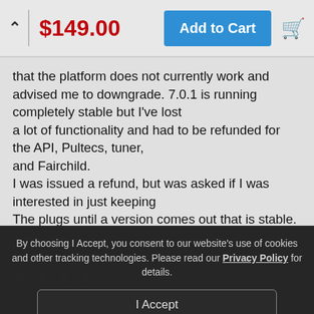$149.00  Add to Cart
that the platform does not currently work and advised me to downgrade. 7.0.1 is running completely stable but I've lost
a lot of functionality and had to be refunded for the API, Pultecs, tuner,
and Fairchild.
I was issued a refund, but was asked if I was interested in just keeping
The plugs until a version comes out that is stable.
This is a complete and utter failure by UA.
I'm a professional engineer, not a beta tester.
J. Cummins
December 5, 20...
★ ★ ★ ★
By choosing I Accept, you consent to our website's use of cookies and other tracking technologies. Please read our Privacy Policy for details.
I Accept